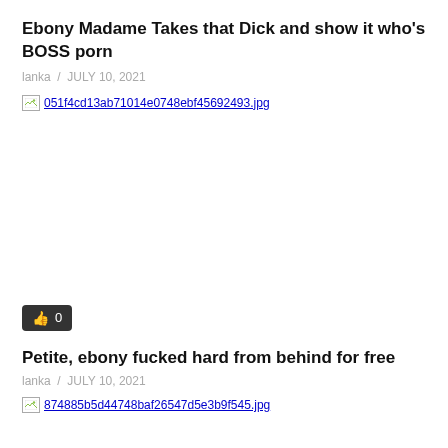Ebony Madame Takes that Dick and show it who's BOSS porn
lanka  /  JULY 10, 2021
[Figure (photo): Broken image placeholder showing filename 051f4cd13ab71014e0748ebf45692493.jpg]
👍 0
Petite, ebony fucked hard from behind for free
lanka  /  JULY 10, 2021
[Figure (photo): Broken image placeholder showing filename 874885b5d44748baf26547d5e3b9f545.jpg]